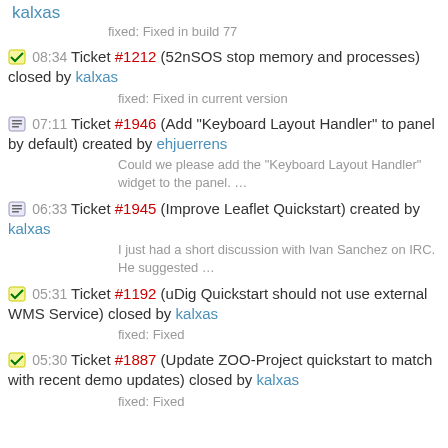kalxas
fixed: Fixed in build 77
08:34 Ticket #1212 (52nSOS stop memory and processes) closed by kalxas
fixed: Fixed in current version
07:11 Ticket #1946 (Add "Keyboard Layout Handler" to panel by default) created by ehjuerrens
Could we please add the "Keyboard Layout Handler" widget to the panel. …
06:33 Ticket #1945 (Improve Leaflet Quickstart) created by kalxas
I just had a short discussion with Ivan Sanchez on IRC. He suggested …
05:31 Ticket #1192 (uDig Quickstart should not use external WMS Service) closed by kalxas
fixed: Fixed
05:30 Ticket #1887 (Update ZOO-Project quickstart to match with recent demo updates) closed by kalxas
fixed: Fixed